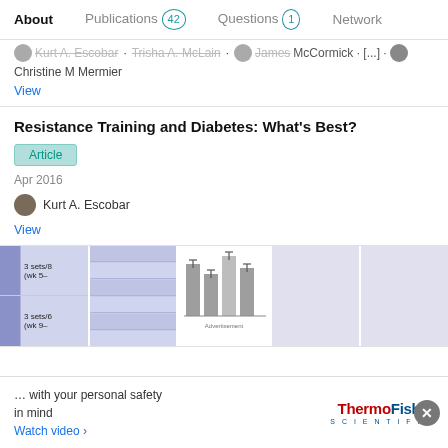About   Publications 42   Questions 1   Network
Kurt A. Escobar · Trisha A. McLain · James McCormick · [...] · Christine M Mermier
View
Resistance Training and Diabetes: What's Best?
Article
Apr 2016
Kurt A. Escobar
View
[Figure (table-as-image): Partial table image showing rows with '3 sets/8 (wk 5–' and '3 sets/6 (wk 9–' with blue column cells]
[Figure (table-as-image): Grid/table image with blue-tinted rows]
[Figure (bar-chart): Bar chart with gray bars and error bars, labeled 'Advertisement' at bottom]
[Figure (other): Light lavender/gray placeholder image]
[Figure (other): Light lavender/gray placeholder image]
… with your personal safety in mind
Watch video ›
[Figure (logo): ThermoFisher Scientific logo]